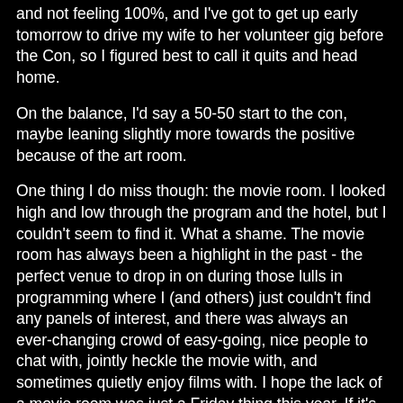and not feeling 100%, and I've got to get up early tomorrow to drive my wife to her volunteer gig before the Con, so I figured best to call it quits and head home.
On the balance, I'd say a 50-50 start to the con, maybe leaning slightly more towards the positive because of the art room.
One thing I do miss though: the movie room. I looked high and low through the program and the hotel, but I couldn't seem to find it. What a shame. The movie room has always been a highlight in the past - the perfect venue to drop in on during those lulls in programming where I (and others) just couldn't find any panels of interest, and there was always an ever-changing crowd of easy-going, nice people to chat with, jointly heckle the movie with, and sometimes quietly enjoy films with. I hope the lack of a movie room was just a Friday thing this year. If it's off the roster completely, perhaps I'll have to send a polite request to the Con Committee, or maybe even get off my lazy butt and volunteer to run it next year.
Oh well, let's get the next two days of this year's Con out of